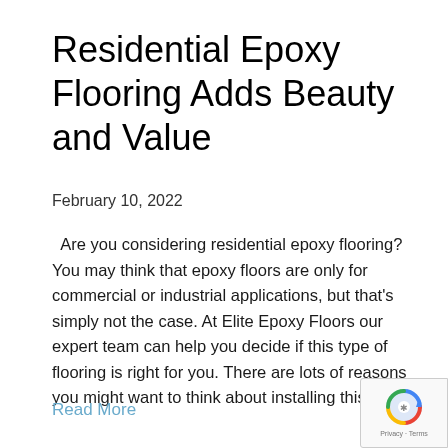Residential Epoxy Flooring Adds Beauty and Value
February 10, 2022
Are you considering residential epoxy flooring? You may think that epoxy floors are only for commercial or industrial applications, but that's simply not the case. At Elite Epoxy Floors our expert team can help you decide if this type of flooring is right for you. There are lots of reasons you might want to think about installing this…
Read More